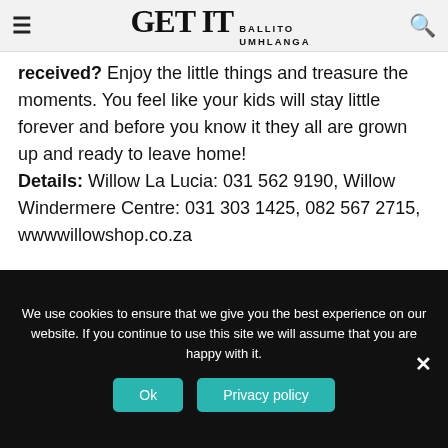GET IT BALLITO UMHLANGA
received? Enjoy the little things and treasure the moments. You feel like your kids will stay little forever and before you know it they all are grown up and ready to leave home! Details: Willow La Lucia: 031 562 9190, Willow Windermere Centre: 031 303 1425, 082 567 2715, wwwwillowshop.co.za
KATE LOVEMORE BAKER – LOVEMORE AESTHETICS
We use cookies to ensure that we give you the best experience on our website. If you continue to use this site we will assume that you are happy with it.